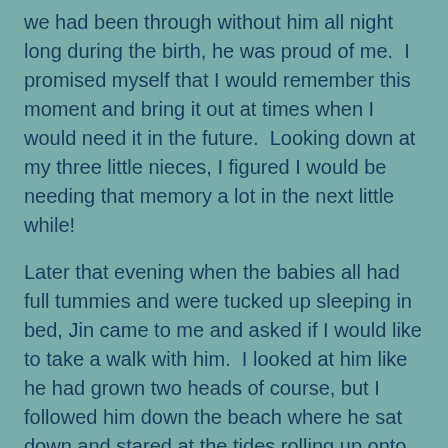we had been through without him all night long during the birth, he was proud of me.  I promised myself that I would remember this moment and bring it out at times when I would need it in the future.  Looking down at my three little nieces, I figured I would be needing that memory a lot in the next little while!
Later that evening when the babies all had full tummies and were tucked up sleeping in bed, Jin came to me and asked if I would like to take a walk with him.  I looked at him like he had grown two heads of course, but I followed him down the beach where he sat down and stared at the tides rolling up onto the sand.  He was quiet for a while, so I too watched the water, waiting for whatever it was he wanted from me.
“So I think I’m ready to hear what happened now,” he said and I stared at him unsure of what he was referring to